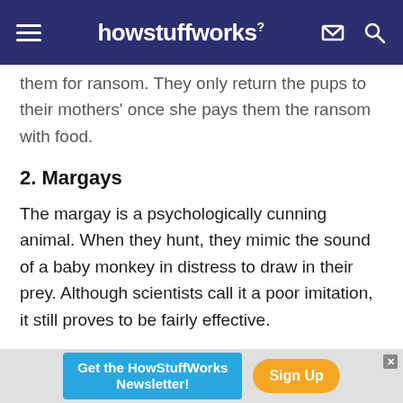howstuffworks
them for ransom. They only return the pups to their mothers' once she pays them the ransom with food.
2. Margays
The margay is a psychologically cunning animal. When they hunt, they mimic the sound of a baby monkey in distress to draw in their prey. Although scientists call it a poor imitation, it still proves to be fairly effective.
1. Meerkats
Get the HowStuffWorks Newsletter! Sign Up